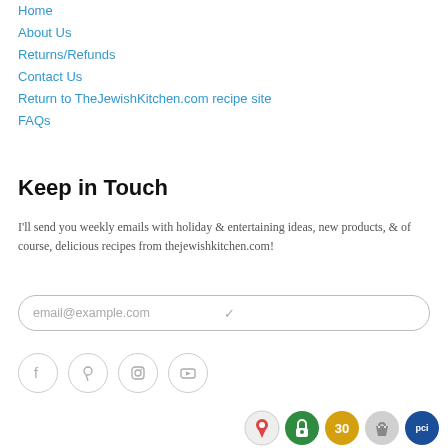Home
About Us
Returns/Refunds
Contact Us
Return to TheJewishKitchen.com recipe site
FAQs
Keep in Touch
I'll send you weekly emails with holiday & entertaining ideas, new products, & of course, delicious recipes from thejewishkitchen.com!
[Figure (other): Email input field with placeholder text 'email@example.com' and a checkmark icon]
[Figure (other): Social media icons: Facebook, Pinterest, Instagram, YouTube — circular outline buttons]
[Figure (other): Trust badge icons: Google Maps pin, green padlock, 30-day badge, Shopify bag, PCI blue circle]